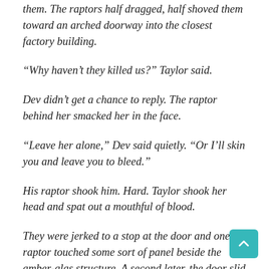them. The raptors half dragged, half shoved them toward an arched doorway into the closest factory building.
“Why haven’t they killed us?” Taylor said.
Dev didn’t get a chance to reply. The raptor behind her smacked her in the face.
“Leave her alone,” Dev said quietly. “Or I’ll skin you and leave you to bleed.”
His raptor shook him. Hard. Taylor shook her head and spat out a mouthful of blood.
They were jerked to a stop at the door and one raptor touched some sort of panel beside the amber-glas structure. A second later, the door slid open and they